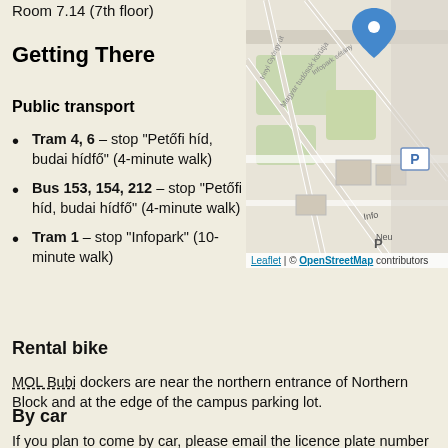Room 7.14 (7th floor)
Getting There
Public transport
Tram 4, 6 – stop "Petőfi híd, budai hídfő" (4-minute walk)
Bus 153, 154, 212 – stop "Petőfi híd, budai hídfő" (4-minute walk)
Tram 1 – stop "Infopark" (10-minute walk)
[Figure (map): OpenStreetMap showing campus location with a blue location pin and parking symbol]
Leaflet | © OpenStreetMap contributors
Rental bike
MOL Bubi dockers are near the northern entrance of Northern Block and at the edge of the campus parking lot.
By car
If you plan to come by car, please email the licence plate number to cvhm.workshop@gmail.com to get permission for